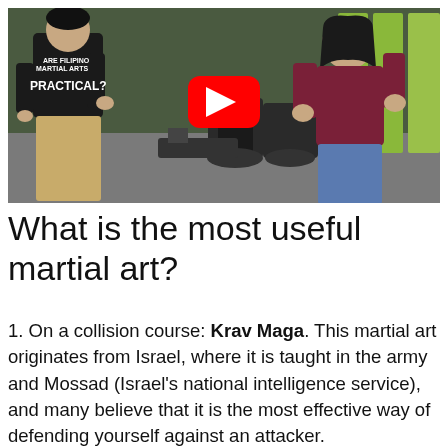[Figure (screenshot): YouTube video thumbnail showing two men in a gym. One man wearing a black shirt with text 'ARE FILIPINO MARTIAL ARTS PRACTICAL?' faces away from camera, while another man in a maroon shirt faces him with hands raised. A red YouTube play button overlay is visible in the center.]
What is the most useful martial art?
1. On a collision course: Krav Maga. This martial art originates from Israel, where it is taught in the army and Mossad (Israel's national intelligence service), and many believe that it is the most effective way of defending yourself against an attacker.